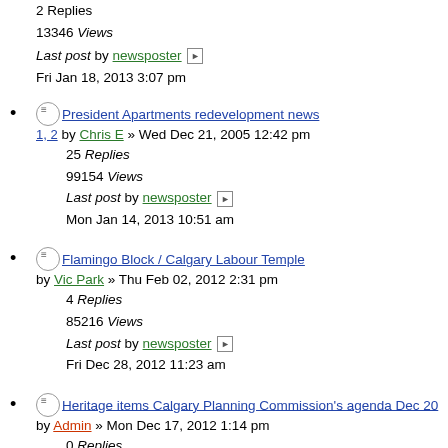2 Replies
13346 Views
Last post by newsposter
Fri Jan 18, 2013 3:07 pm
President Apartments redevelopment news 1, 2 by Chris E » Wed Dec 21, 2005 12:42 pm
25 Replies
99154 Views
Last post by newsposter
Mon Jan 14, 2013 10:51 am
Flamingo Block / Calgary Labour Temple by Vic Park » Thu Feb 02, 2012 2:31 pm
4 Replies
85216 Views
Last post by newsposter
Fri Dec 28, 2012 11:23 am
Heritage items Calgary Planning Commission's agenda Dec 20 by Admin » Mon Dec 17, 2012 1:14 pm
0 Replies
7691 Views
Last post by Admin
Mon Dec 17, 2012 1:14 pm